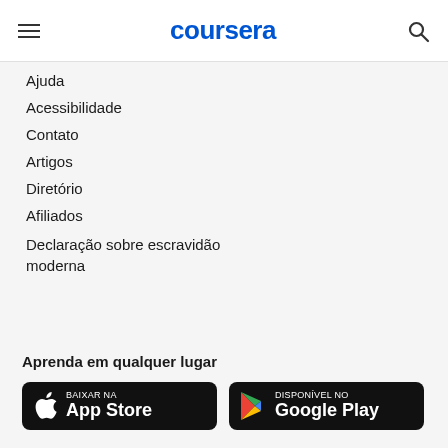coursera
Ajuda
Acessibilidade
Contato
Artigos
Diretório
Afiliados
Declaração sobre escravidão moderna
Aprenda em qualquer lugar
[Figure (screenshot): App Store and Google Play download buttons side by side on dark backgrounds]